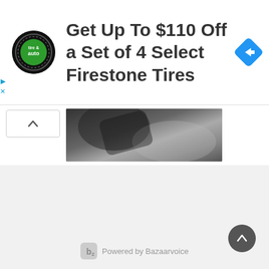[Figure (screenshot): Advertisement banner: Firestone Tire & Auto circular logo on left, large text 'Get Up To $110 Off a Set of 4 Select Firestone Tires', blue diamond navigation icon on right]
[Figure (screenshot): Collapsed content section with an up-chevron button on the left and a blurred black-and-white photograph on the right]
Powered by Bazaarvoice